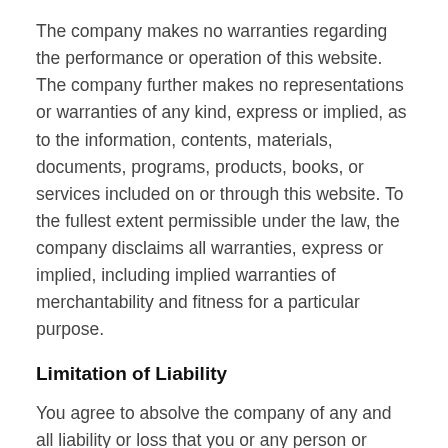The company makes no warranties regarding the performance or operation of this website. The company further makes no representations or warranties of any kind, express or implied, as to the information, contents, materials, documents, programs, products, books, or services included on or through this website. To the fullest extent permissible under the law, the company disclaims all warranties, express or implied, including implied warranties of merchantability and fitness for a particular purpose.
Limitation of Liability
You agree to absolve the company of any and all liability or loss that you or any person or